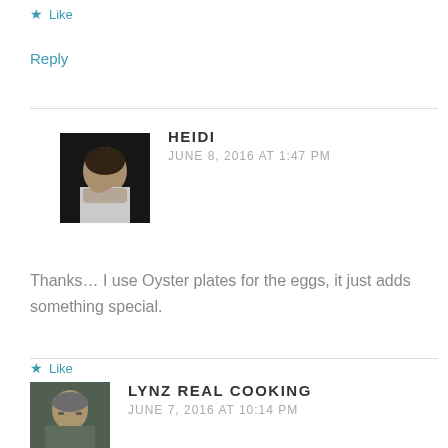★ Like
Reply
[Figure (photo): Avatar photo of Heidi, a woman with long blonde hair and a white turtleneck, dark background]
HEIDI
JUNE 8, 2016 AT 1:47 PM
Thanks... I use Oyster plates for the eggs, it just adds something special.
★ Like
Reply
[Figure (photo): Avatar photo of Lynz Real Cooking, a woman with short hair and glasses]
LYNZ REAL COOKING
JUNE 7, 2016 AT 10:14 PM